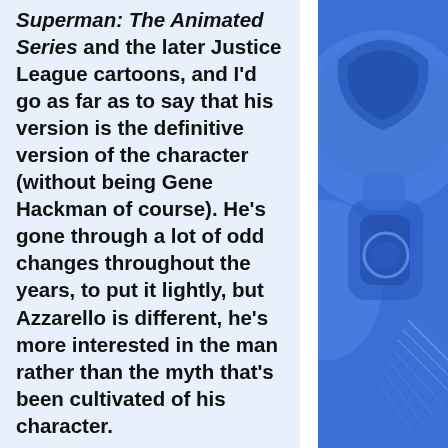Superman: The Animated Series and the later Justice League cartoons, and I'd go as far as to say that his version is the definitive version of the character (without being Gene Hackman of course). He's gone through a lot of odd changes throughout the years, to put it lightly, but Azzarello is different, he's more interested in the man rather than the myth that's been cultivated of his character.
Everyone loves to hear the villain's point of view, even if there's some who won't admit it. Azzarello writes with a deft hand, painting Lex as understandable
[Figure (illustration): Blue-toned comic book style illustration of a character (likely Lex Luthor or Superman villain) in armor or suit, with circular and curved design elements, on a deep blue background.]